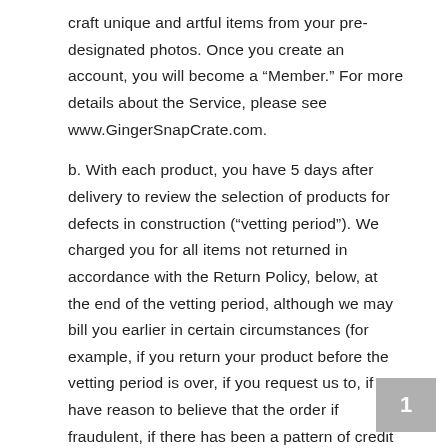craft unique and artful items from your pre-designated photos. Once you create an account, you will become a “Member.” For more details about the Service, please see www.GingerSnapCrate.com.
b. With each product, you have 5 days after delivery to review the selection of products for defects in construction (“vetting period”). We charged you for all items not returned in accordance with the Return Policy, below, at the end of the vetting period, although we may bill you earlier in certain circumstances (for example, if you return your product before the vetting period is over, if you request us to, if we have reason to believe that the order if fraudulent, if there has been a pattern of credit issues, or if we notify you that we will do so.) There are no order minimums or long-term ordering commitments. You may suspend your Membership at any time by contacting GingerSnapCrate customer support at service@GingerSnapCrate.com with a 30 day notice. GingerSnapCrate reserves the rights to terminate your
1